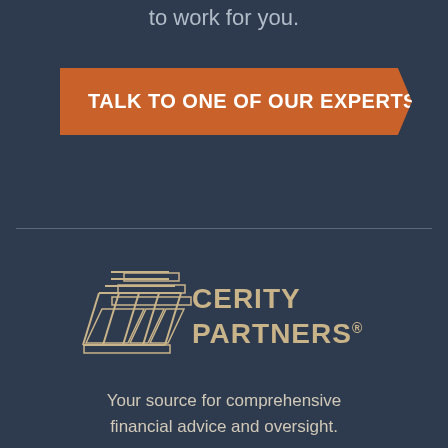to work for you.
TALK TO ONE OF OUR EXPERTS >
[Figure (logo): Cerity Partners logo with geometric hexagonal layered shape icon and text 'CERITY PARTNERS®']
Your source for comprehensive financial advice and oversight.